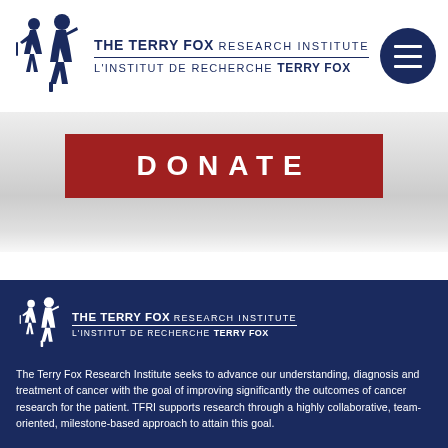[Figure (logo): The Terry Fox Research Institute logo with running figures silhouette and bilingual text in dark navy blue, on white background with circular hamburger menu button]
[Figure (other): Red DONATE button on a light gray gradient background band]
[Figure (logo): The Terry Fox Research Institute logo in white on dark navy blue footer background]
The Terry Fox Research Institute seeks to advance our understanding, diagnosis and treatment of cancer with the goal of improving significantly the outcomes of cancer research for the patient. TFRI supports research through a highly collaborative, team-oriented, milestone-based approach to attain this goal.